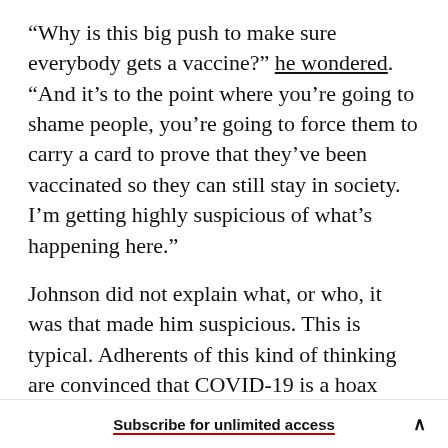“Why is this big push to make sure everybody gets a vaccine?” he wondered. “And it’s to the point where you’re going to shame people, you’re going to force them to carry a card to prove that they’ve been vaccinated so they can still stay in society. I’m getting highly suspicious of what’s happening here.”
Johnson did not explain what, or who, it was that made him suspicious. This is typical. Adherents of this kind of thinking are convinced that COVID-19 is a hoax perpetrated by someone, for some reason, but are rarely clear about who might have done so, or for what purpose. The vague, imputed
Subscribe for unlimited access